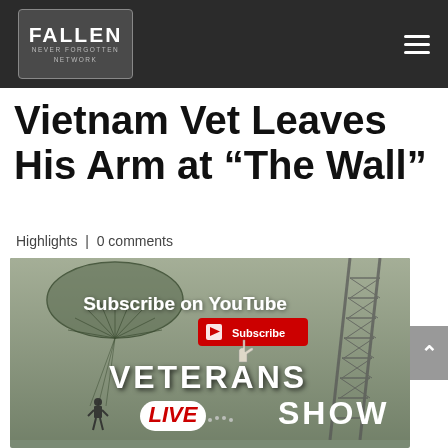[Figure (logo): Fallen Never Forgotten Network logo — dark badge with white text]
Vietnam Vet Leaves His Arm at “The Wall”
Highlights | 0 comments
[Figure (screenshot): YouTube subscribe promotional image showing a parachuting soldier silhouette and radio tower against a grey-green sky, with text 'Subscribe on YouTube', a red Subscribe button, and 'VETERANS LIVE SHOW' text overlaid]